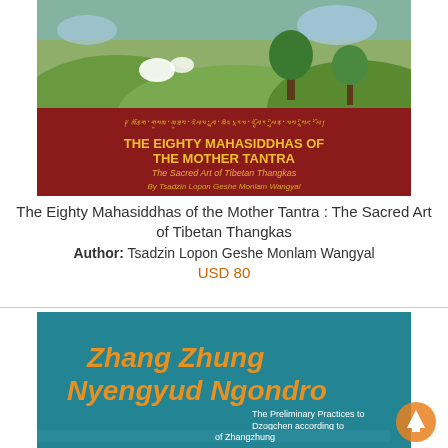[Figure (illustration): Book cover for 'The Eighty Mahasiddhas of the Mother Tantra: The Sacred Art of Tibetan Thangkas' by Tsadzin Lopon Geshe Monlam Wangyal. Dark red/maroon cover with Tibetan script at top, gold title text, and Tibetan thangka painting detail at top showing green landscape with figures.]
The Eighty Mahasiddhas of the Mother Tantra : The Sacred Art of Tibetan Thangkas
Author: Tsadzin Lopon Geshe Monlam Wangyal
USD 80
[Figure (illustration): Book cover for 'Zhang Zhung Nyengyud Ngondro: The Preliminary Practices to Dzogchen according to the Oral Transmission of Zhangzhung'. Teal/blue-green background with large orange italic title text and smaller white subtitle text.]